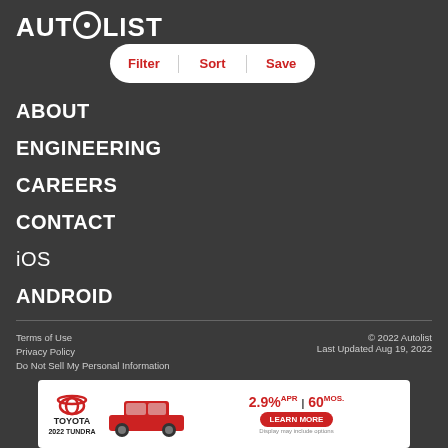AUTOLIST
[Figure (screenshot): Filter, Sort, Save pill navigation button]
ABOUT
ENGINEERING
CAREERS
CONTACT
iOS
ANDROID
Terms of Use
Privacy Policy
Do Not Sell My Personal Information
© 2022 Autolist
Last Updated Aug 19, 2022
[Figure (illustration): Toyota 2022 Tundra advertisement banner with 2.9% APR for 60 mos offer and Learn More button]